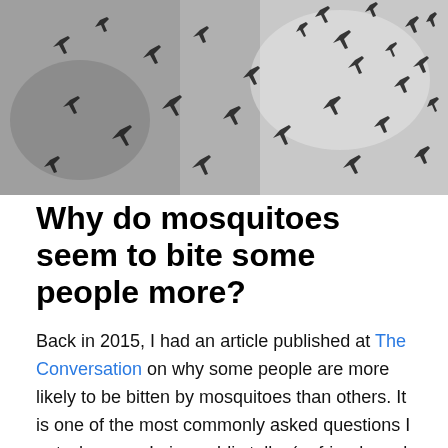[Figure (photo): Black and white close-up photograph of many mosquitoes resting on a mesh or screen surface.]
Why do mosquitoes seem to bite some people more?
Back in 2015, I had an article published at The Conversation on why some people are more likely to be bitten by mosquitoes than others. It is one of the most commonly asked questions I get whenever I give public talks (or friends and family are quizzing me at summer BBQs).